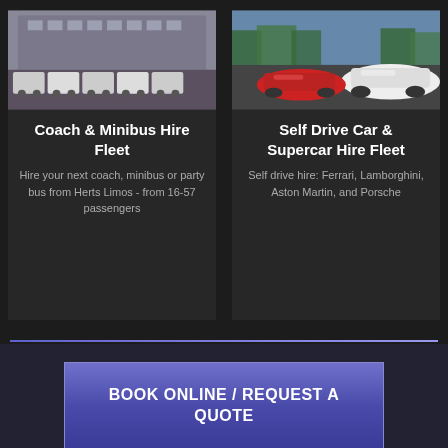[Figure (photo): Photo of a fleet of white coaches/minibuses parked in front of a large building]
Coach & Minibus Hire Fleet
Hire your next coach, minibus or party bus from Herts Limos - from 16-57 passengers
[Figure (photo): Photo of luxury and sports cars including a white Ferrari and red Ferrari in a car park]
Self Drive Car & Supercar Hire Fleet
Self drive hire: Ferrari, Lamborghini, Aston Martin, and Porsche
BOOK ONLINE / REQUEST A QUOTE
Get a Free Limo Hire Quote Today